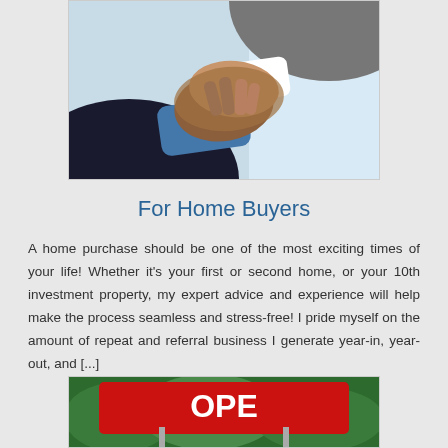[Figure (photo): Two people shaking hands — one in a dark suit with blue shirt, one in a light grey suit — photographed close up against a bright background]
For Home Buyers
A home purchase should be one of the most exciting times of your life! Whether it's your first or second home, or your 10th investment property, my expert advice and experience will help make the process seamless and stress-free! I pride myself on the amount of repeat and referral business I generate year-in, year-out, and [...]
[Figure (photo): Open house real estate sign in red with white text, against a green shrub background]